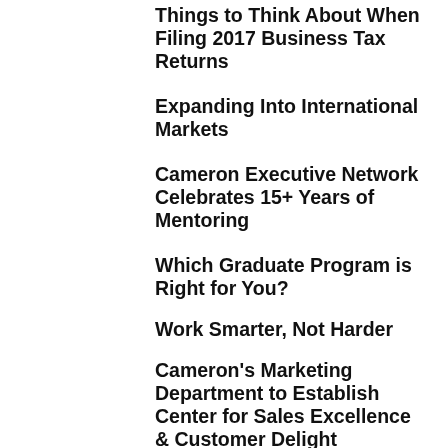Things to Think About When Filing 2017 Business Tax Returns
Expanding Into International Markets
Cameron Executive Network Celebrates 15+ Years of Mentoring
Which Graduate Program is Right for You?
Work Smarter, Not Harder
Cameron's Marketing Department to Establish Center for Sales Excellence & Customer Delight
Cameron to Offer Master's in Finance and Investment Management
Cameron School of Business's Entrepreneurship Week Taps Wilmington's Entrepreneurial Ecosystem